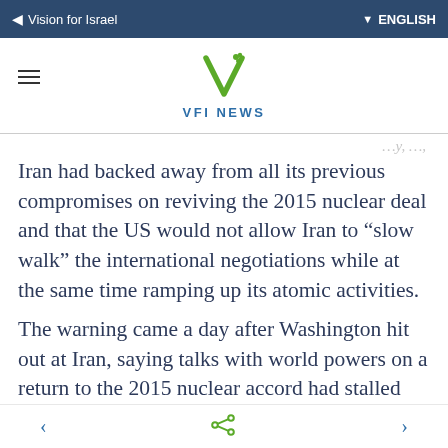Vision for Israel   ENGLISH
[Figure (logo): VFI News logo: green V with leaf/branch design above text 'VFI NEWS' in blue]
Iran had backed away from all its previous compromises on reviving the 2015 nuclear deal and that the US would not allow Iran to “slow walk” the international negotiations while at the same time ramping up its atomic activities.
The warning came a day after Washington hit out at Iran, saying talks with world powers on a return to the 2015 nuclear accord had stalled because Tehran “does not seem to be serious.”
< share >